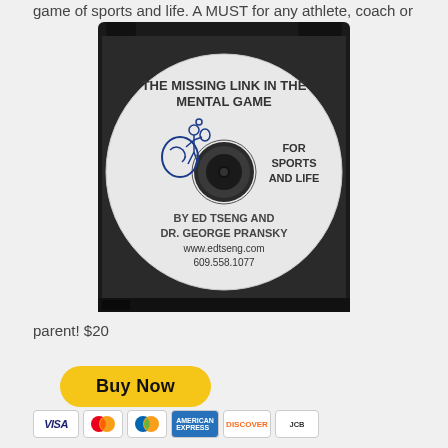game of sports and life. A MUST for any athlete, coach or
[Figure (photo): CD in a black jewel case. The disc label reads: THE MISSING LINK IN THE MENTAL GAME / FOR SPORTS AND LIFE / BY ED TSENG AND DR. GEORGE PRANSKY / www.edtseng.com / 609.558.1077, with a logo of a head outline and tennis player figure.]
parent! $20
[Figure (other): Yellow PayPal Buy Now button]
[Figure (other): Payment method icons: Visa, Mastercard, Maestro, American Express, Discover, JCB]